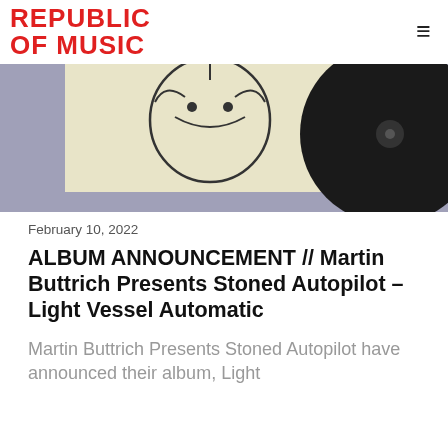REPUBLIC OF MUSIC
[Figure (photo): Album cover and vinyl record photo — cream-colored album sleeve with minimalist line illustration and a black vinyl record partially visible on the right, against a grey/purple background]
February 10, 2022
ALBUM ANNOUNCEMENT // Martin Buttrich Presents Stoned Autopilot – Light Vessel Automatic
Martin Buttrich Presents Stoned Autopilot have announced their album, Light